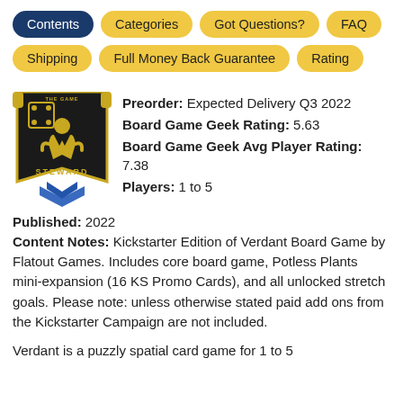Contents
Categories
Got Questions?
FAQ
Shipping
Full Money Back Guarantee
Rating
[Figure (logo): The Game Steward logo — a gold meeple figure on black banner with dice, blue chevron at bottom]
Preorder: Expected Delivery Q3 2022
Board Game Geek Rating: 5.63
Board Game Geek Avg Player Rating: 7.38
Players: 1 to 5
Published: 2022
Content Notes: Kickstarter Edition of Verdant Board Game by Flatout Games. Includes core board game, Potless Plants mini-expansion (16 KS Promo Cards), and all unlocked stretch goals. Please note: unless otherwise stated paid add ons from the Kickstarter Campaign are not included.
Verdant is a puzzly spatial card game for 1 to 5